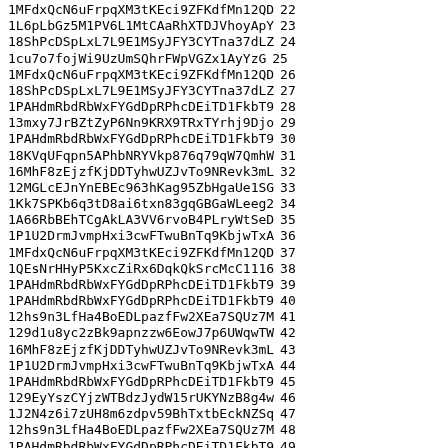| Address | Number |
| --- | --- |
| 1MFdxQcN6uFrpqXM3tKEci9ZFKdfMn12QD | 22 |
| 1L6pLbGz5M1PV6L1MtCAaRhXTDJVhoyApY | 23 |
| 18ShPcDSpLxL7L9E1MSyJFY3CYTna37dLZ | 24 |
| 1cu7o7fojWi9UzUmSQhrFWpVGZx1AyYzG | 25 |
| 1MFdxQcN6uFrpqXM3tKEci9ZFKdfMn12QD | 26 |
| 18ShPcDSpLxL7L9E1MSyJFY3CYTna37dLZ | 27 |
| 1PAHdmRbdRbWxFYGdDpRPhcDEiTD1FkbT9 | 28 |
| 13mxy7JrBZtZyP6Nn9KRX9TRxTYrhj9Djo | 29 |
| 1PAHdmRbdRbWxFYGdDpRPhcDEiTD1FkbT9 | 30 |
| 18KVqUFqpn5APhbNRYVkp876q79qW7QmhW | 31 |
| 16MhF8zEjzfKjDDTyhwUZJvTo9NRevk3mL | 32 |
| 12MGLcEJnYnEBEc963hKag95ZbHgaUe1SG | 33 |
| 1Kk7SPKb6q3tD8ai6txn83gqGBGaWLeeg2 | 34 |
| 1A66RbBEhTCgAkLA3VV6rvoB4PLryWtSeD | 35 |
| 1P1U2DrmJvmpHxi3cwFTwuBnTq9KbjwTxA | 36 |
| 1MFdxQcN6uFrpqXM3tKEci9ZFKdfMn12QD | 37 |
| 1QEsNrHHyP5KxcZiRx6DqkQkSrcMcC1116 | 38 |
| 1PAHdmRbdRbWxFYGdDpRPhcDEiTD1FkbT9 | 39 |
| 1PAHdmRbdRbWxFYGdDpRPhcDEiTD1FkbT9 | 40 |
| 12hs9n3LfHa4BoEDLpazfFw2XEa7SQUz7M | 41 |
| 129d1u8yc2zBk9apnzzw6EowJ7p6UWqwTW | 42 |
| 16MhF8zEjzfKjDDTyhwUZJvTo9NRevk3mL | 43 |
| 1P1U2DrmJvmpHxi3cwFTwuBnTq9KbjwTxA | 44 |
| 1PAHdmRbdRbWxFYGdDpRPhcDEiTD1FkbT9 | 45 |
| 129EyYszCYjzWTBdzJydW15rUKYNzB8g4w | 46 |
| 1J2N4z6i7zUH8m6zdpv59BhTxtbEckNZSq | 47 |
| 12hs9n3LfHa4BoEDLpazfFw2XEa7SQUz7M | 48 |
| 1PAHdmRbdRbWxFYGdDpRPhcDEiTD1FkbT9 | 49 |
| 16Hu2PhPKS1euBDmCPuovjZxVhUYAK8sjR | 50 |
| 129d1u8yc2zBk9apnzzw6EowJ7p6UWqwTW | 51 |